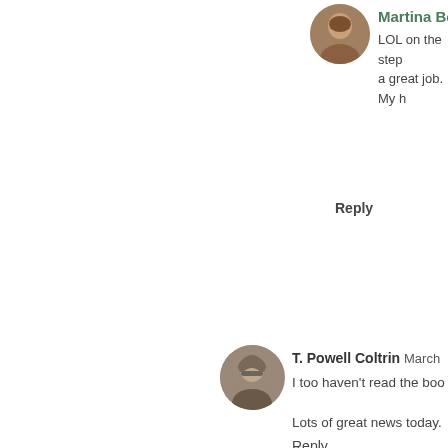[Figure (photo): Avatar photo of Martina Boone (top comment)]
Martina Boone
LOL on the step a great job. My h
Reply
[Figure (photo): Avatar photo of T. Powell Coltrin]
T. Powell Coltrin March
I too haven't read the boo
Lots of great news today.
Reply
Replies
[Figure (photo): Avatar photo of Martina Boone (reply)]
Martina Boone
I don't say this way. I'm inspired thought to why t
Reply